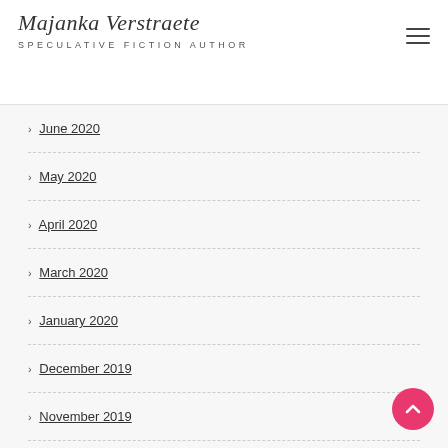Majanka Verstraete — SPECULATIVE FICTION AUTHOR
> June 2020
> May 2020
> April 2020
> March 2020
> January 2020
> December 2019
> November 2019